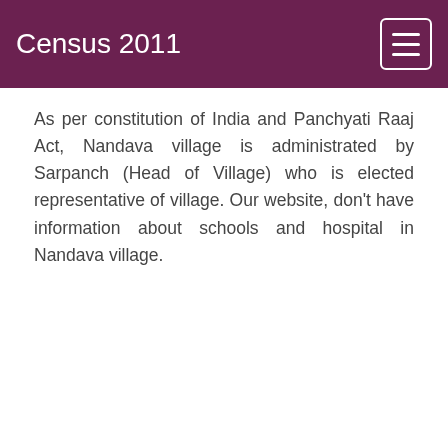Census 2011
As per constitution of India and Panchyati Raaj Act, Nandava village is administrated by Sarpanch (Head of Village) who is elected representative of village. Our website, don't have information about schools and hospital in Nandava village.